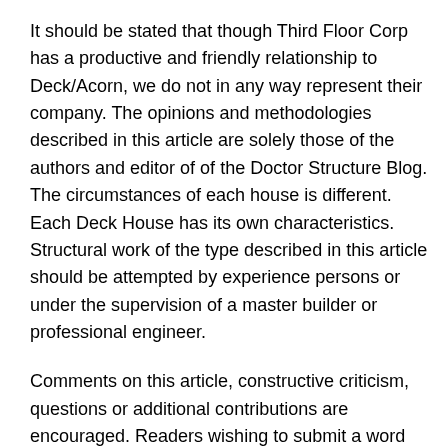It should be stated that though Third Floor Corp has a productive and friendly relationship to Deck/Acorn, we do not in any way represent their company. The opinions and methodologies described in this article are solely those of the authors and editor of of the Doctor Structure Blog. The circumstances of each house is different. Each Deck House has its own characteristics. Structural work of the type described in this article should be attempted by experience persons or under the supervision of a master builder or professional engineer.
Comments on this article, constructive criticism, questions or additional contributions are encouraged. Readers wishing to submit a word press article to this blog for publication should send a copy by email to doctorstructure@thirdfloorconstruction.com.